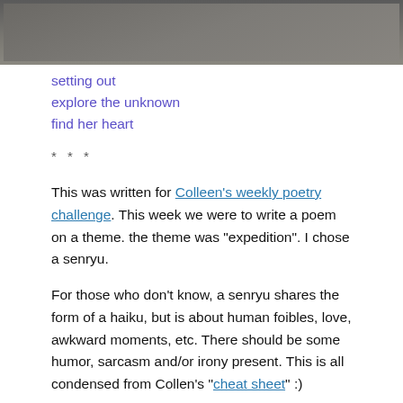[Figure (photo): Dark grey/brown photograph at top of page, showing an indistinct landscape or surface with slight handwriting visible in upper right corner.]
setting out
explore the unknown
find her heart
* * *
This was written for Colleen’s weekly poetry challenge. This week we were to write a poem on a theme. the theme was “expedition”. I chose a senryu.
For those who don’t know, a senryu shares the form of a haiku, but is about human foibles, love, awkward moments, etc. There should be some humor, sarcasm and/or irony present. This is all condensed from Collen’s “cheat sheet” :)